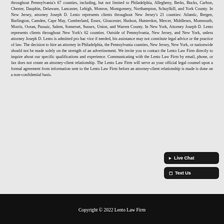throughout Pennsylvania's 67 counties, including, but not limited to Philadelphia, Allegheny, Berks, Bucks, Carbon, Chester, Dauphin, Delaware, Lancaster, Lehigh, Monroe, Montgomery, Northampton, Schuylkill, and York County. In New Jersey, attorney Joseph D. Lento represents clients throughout New Jersey's 21 counties: Atlantic, Bergen, Burlington, Camden, Cape May, Cumberland, Essex, Gloucester, Hudson, Hunterdon, Mercer, Middlesex, Monmouth, Morris, Ocean, Passaic, Salem, Somerset, Sussex, Union, and Warren County. In New York, Attorney Joseph D. Lento represents clients throughout New York's 62 counties. Outside of Pennsylvania, New Jersey, and New York, unless attorney Joseph D. Lento is admitted pro hac vice if needed, his assistance may not constitute legal advice or the practice of law. The decision to hire an attorney in Philadelphia, the Pennsylvania counties, New Jersey, New York, or nationwide should not be made solely on the strength of an advertisement. We invite you to contact the Lento Law Firm directly to inquire about our specific qualifications and experience. Communicating with the Lento Law Firm by email, phone, or fax does not create an attorney-client relationship. The Lento Law Firm will serve as your official legal counsel upon a formal agreement from information sent to the Lento Law Firm before an attorney-client relationship is made is done on a non-confidential basis.
Copyright © 2022 Lento Law Firm